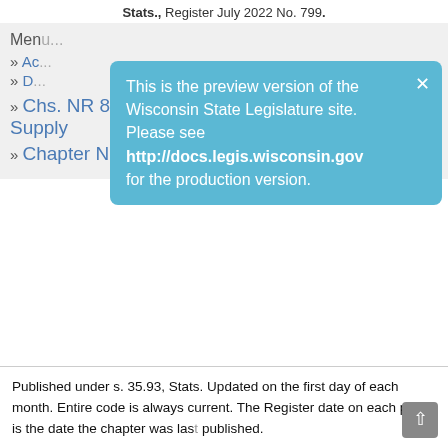Stats., Register July 2022 No. 799.
This is the preview version of the Wisconsin State Legislature site. Please see http://docs.legis.wisconsin.gov for the production version.
» Ac...
» D...
» Chs. NR 800- ; Environmental Protection – Water Supply
» Chapter NR 812
Published under s. 35.93, Stats. Updated on the first day of each month. Entire code is always current. The Register date on each page is the date the chapter was last published.